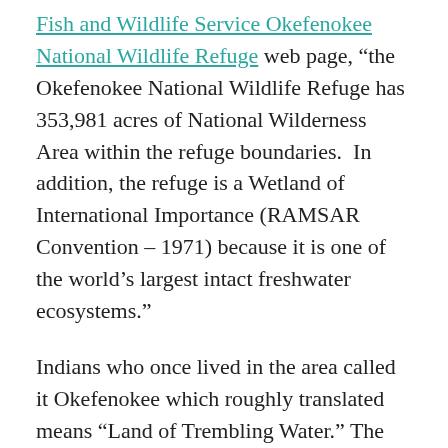Fish and Wildlife Service Okefenokee National Wildlife Refuge web page, “the Okefenokee National Wildlife Refuge has 353,981 acres of National Wilderness Area within the refuge boundaries.  In addition, the refuge is a Wetland of International Importance (RAMSAR Convention – 1971) because it is one of the world’s largest intact freshwater ecosystems.”
Indians who once lived in the area called it Okefenokee which roughly translated means “Land of Trembling Water.” The headwaters of the Suwanee River is located